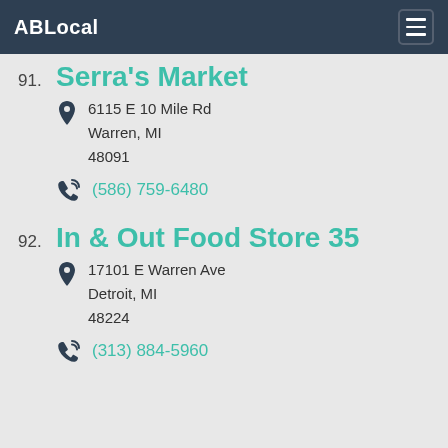ABLocal
91. Serra's Market
6115 E 10 Mile Rd
Warren, MI
48091
(586) 759-6480
92. In & Out Food Store 35
17101 E Warren Ave
Detroit, MI
48224
(313) 884-5960